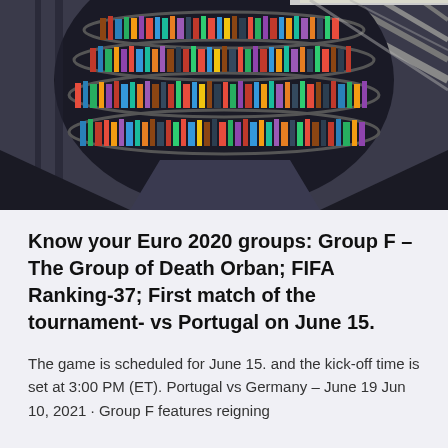[Figure (photo): Interior photo of a large circular library with curved bookshelves filled with colorful books, taken from a low angle looking upward, with structural beams and natural light visible]
Know your Euro 2020 groups: Group F – The Group of Death Orban; FIFA Ranking-37; First match of the tournament- vs Portugal on June 15.
The game is scheduled for June 15. and the kick-off time is set at 3:00 PM (ET). Portugal vs Germany – June 19 Jun 10, 2021 · Group F features reigning